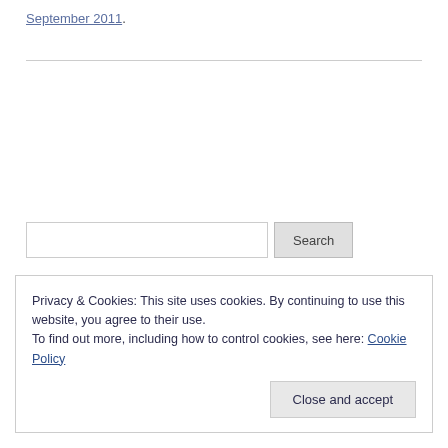September 2011.
[Figure (other): Search input box with Search button]
Privacy & Cookies: This site uses cookies. By continuing to use this website, you agree to their use.
To find out more, including how to control cookies, see here: Cookie Policy